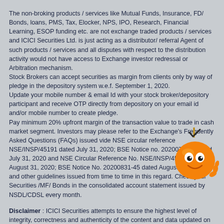The non-broking products / services like Mutual Funds, Insurance, FD/ Bonds, loans, PMS, Tax, Elocker, NPS, IPO, Research, Financial Learning, ESOP funding etc. are not exchange traded products / services and ICICI Securities Ltd. is just acting as a distributor/ referral Agent of such products / services and all disputes with respect to the distribution activity would not have access to Exchange investor redressal or Arbitration mechanism. Stock Brokers can accept securities as margin from clients only by way of pledge in the depository system w.e.f. September 1, 2020. Update your mobile number & email Id with your stock broker/depository participant and receive OTP directly from depository on your email id and/or mobile number to create pledge. Pay minimum 20% upfront margin of the transaction value to trade in cash market segment. Investors may please refer to the Exchange's Frequently Asked Questions (FAQs) issued vide NSE circular reference NSE/INSP/45191 dated July 31, 2020; BSE Notice no. 20200731-7 dated July 31, 2020 and NSE Circular Reference No. NSE/INSP/45534 dated August 31, 2020; BSE Notice No. 20200831-45 dated August 31, 2020 and other guidelines issued from time to time in this regard. Check your Securities /MF/ Bonds in the consolidated account statement issued by NSDL/CDSL every month.
[Figure (illustration): Orange cartoon mascot character with a checkmark on its head, smiling, positioned in bottom-right area]
Disclaimer : ICICI Securities attempts to ensure the highest level of integrity, correctness and authenticity of the content and data updated on the site. However, we may have not reviewed all the contents and data present on the site and are not responsible or we